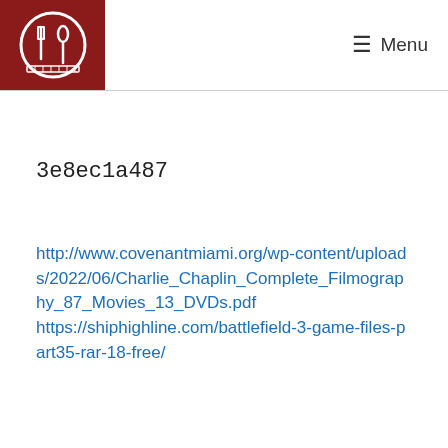Menu
3e8ec1a487
http://www.covenantmiami.org/wp-content/uploads/2022/06/Charlie_Chaplin_Complete_Filmography_87_Movies_13_DVDs.pdf
https://shiphighline.com/battlefield-3-game-files-part35-rar-18-free/